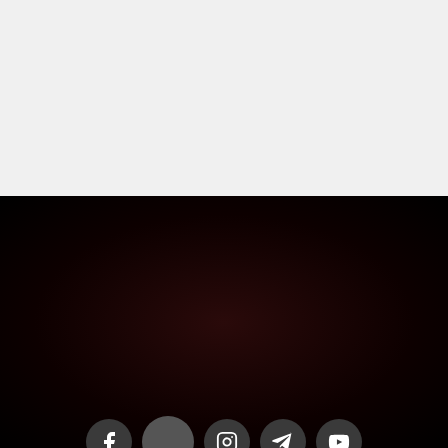[Figure (illustration): Top half of page with light gray background, empty content area]
[Figure (illustration): Social media icon circles: Facebook, unlabeled (larger), Instagram, Telegram, YouTube on dark red/black background]
Ultime news
Diablo IV: Aggiornamento trimestrale agosto 2022
Diablo IV: Hell's Ink fa tappa a Berlino!